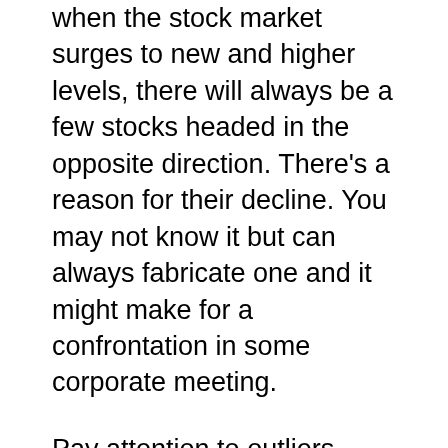when the stock market surges to new and higher levels, there will always be a few stocks headed in the opposite direction. There's a reason for their decline. You may not know it but can always fabricate one and it might make for a confrontation in some corporate meeting.
Pay attention to outliers. They can do wonders for your plots and who knows. You may stumble across something brand new and of significant importance to the world.